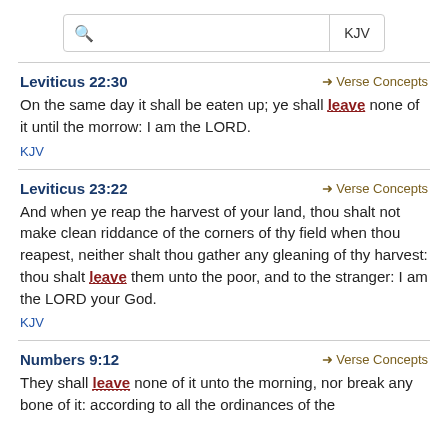KJV [search bar]
Leviticus 22:30
On the same day it shall be eaten up; ye shall leave none of it until the morrow: I am the LORD.
KJV
Leviticus 23:22
And when ye reap the harvest of your land, thou shalt not make clean riddance of the corners of thy field when thou reapest, neither shalt thou gather any gleaning of thy harvest: thou shalt leave them unto the poor, and to the stranger: I am the LORD your God.
KJV
Numbers 9:12
They shall leave none of it unto the morning, nor break any bone of it: according to all the ordinances of the